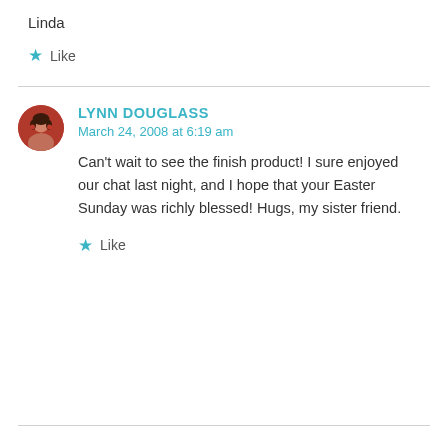Linda
★ Like
LYNN DOUGLASS
March 24, 2008 at 6:19 am
Can't wait to see the finish product! I sure enjoyed our chat last night, and I hope that your Easter Sunday was richly blessed! Hugs, my sister friend.
★ Like